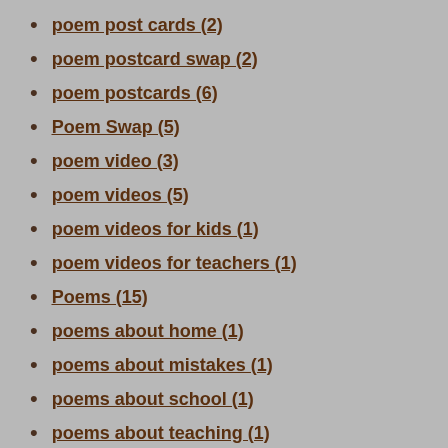poem post cards (2)
poem postcard swap (2)
poem postcards (6)
Poem Swap (5)
poem video (3)
poem videos (5)
poem videos for kids (1)
poem videos for teachers (1)
Poems (15)
poems about home (1)
poems about mistakes (1)
poems about school (1)
poems about teaching (1)
poems about the sea (1)
poems about words (1)
Poems are Teachers (3)